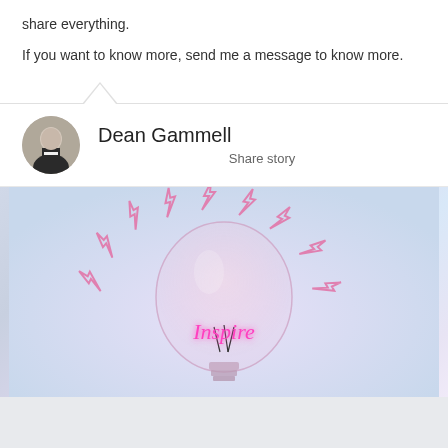share everything.
If you want to know more, send me a message to know more.
Dean Gammell
Share story
[Figure (illustration): A glowing light bulb with pink neon text 'Inspire' inside, surrounded by pink lightning bolt icons, on a soft pastel gradient background.]